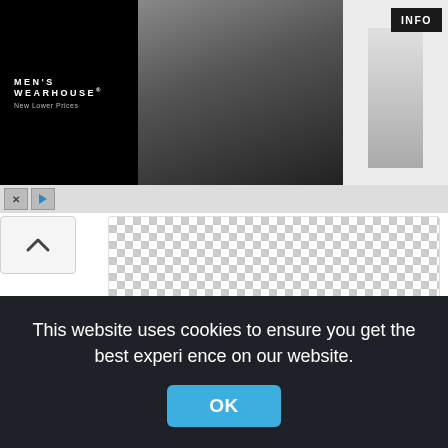[Figure (screenshot): Men's Wearhouse advertisement banner with couple in formal wear and a man in white suit, with INFO button]
[Figure (screenshot): Checkerboard transparent image preview area for a snowflake PNG image]
text, blue snowflakes, Snowflake, blue, Snowflakes, presentatio,snow png
574x611px
[Figure (screenshot): Second checkerboard transparent image preview area (partially visible)]
This website uses cookies to ensure you get the best experience on our website.